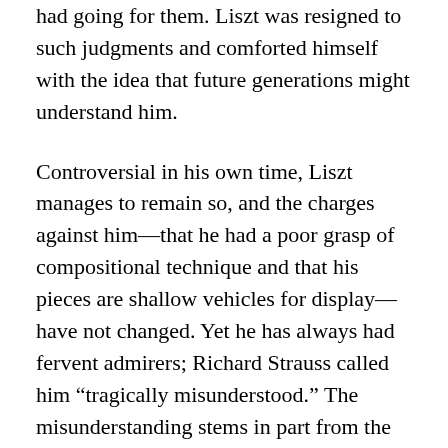had going for them. Liszt was resigned to such judgments and comforted himself with the idea that future generations might understand him.
Controversial in his own time, Liszt manages to remain so, and the charges against him—that he had a poor grasp of compositional technique and that his pieces are shallow vehicles for display—have not changed. Yet he has always had fervent admirers; Richard Strauss called him “tragically misunderstood.” The misunderstanding stems in part from the sheer variety of Liszt’s career and output. Born in Hungary, he became, first, a Parisian composer who spoke French better than his native German, and then a pioneer of the New German School in Weimar, and the living embodiment of